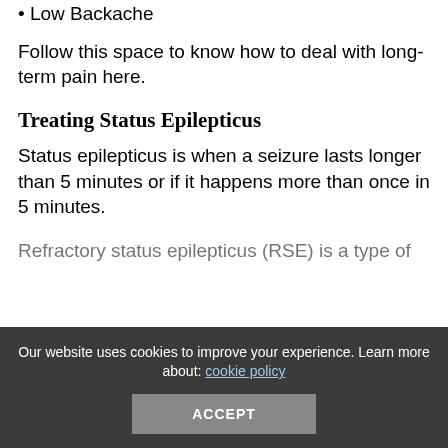• Low Backache
Follow this space to know how to deal with long-term pain here.
Treating Status Epilepticus
Status epilepticus is when a seizure lasts longer than 5 minutes or if it happens more than once in 5 minutes.
Refractory status epilepticus (RSE) is a type of
Our website uses cookies to improve your experience. Learn more about: cookie policy